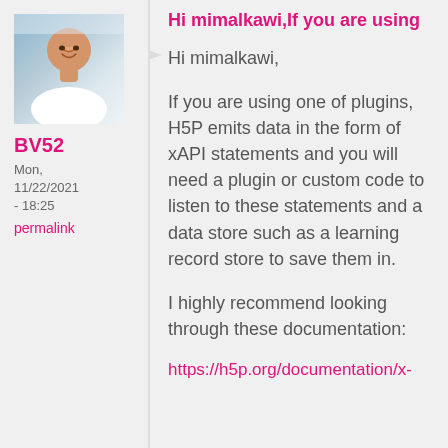[Figure (photo): Profile photo of user BV52 — a man in a white shirt smiling]
BV52
Mon, 11/22/2021 - 18:25
permalink
Hi mimalkawi,If you are using
Hi mimalkawi,

If you are using one of plugins, H5P emits data in the form of xAPI statements and you will need a plugin or custom code to listen to these statements and a data store such as a learning record store to save them in.

I highly recommend looking through these documentation:

https://h5p.org/documentation/x-
https://h5p.org/documentation/x-